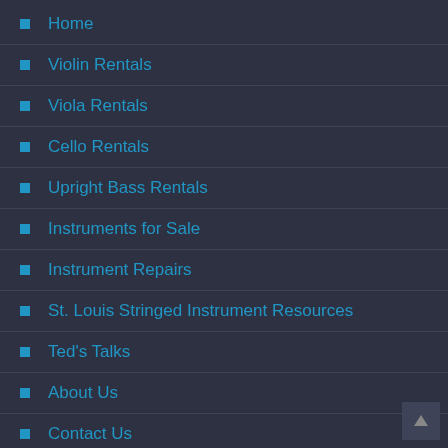Home
Violin Rentals
Viola Rentals
Cello Rentals
Upright Bass Rentals
Instruments for Sale
Instrument Repairs
St. Louis Stringed Instrument Resources
Ted's Talks
About Us
Contact Us
Store Locations